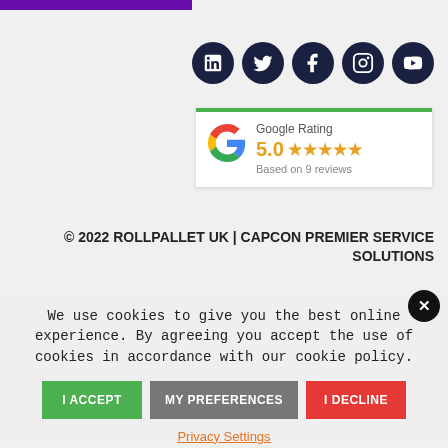[Figure (logo): Purple horizontal bar at top left]
[Figure (infographic): Row of 5 social media icons (LinkedIn, Twitter, Facebook, Instagram, YouTube) as dark navy circles]
[Figure (infographic): Google Rating widget showing 5.0 stars based on 9 reviews]
© 2022 ROLLPALLET UK | CAPCON PREMIER SERVICE SOLUTIONS
We use cookies to give you the best online experience. By agreeing you accept the use of cookies in accordance with our cookie policy.
I ACCEPT
MY PREFERENCES
I DECLINE
Privacy Settings